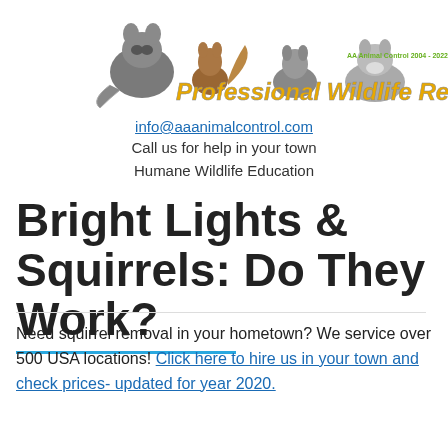[Figure (logo): Professional Wildlife Removal logo with animal silhouettes (raccoon, squirrel, opossum) and text 'Professional Wildlife Removal' in gold italic, with 'AA Animal Control 2004-2022' in green]
info@aaanimalcontrol.com
Call us for help in your town
Humane Wildlife Education
Bright Lights & Squirrels: Do They Work?
Need squirrel removal in your hometown? We service over 500 USA locations! Click here to hire us in your town and check prices- updated for year 2020.